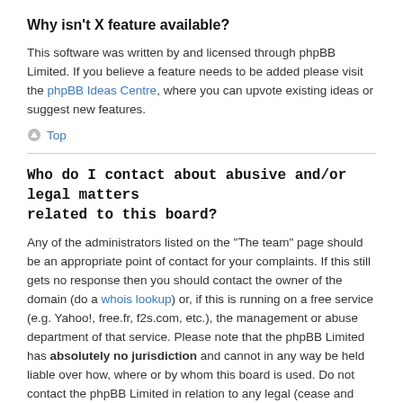Why isn't X feature available?
This software was written by and licensed through phpBB Limited. If you believe a feature needs to be added please visit the phpBB Ideas Centre, where you can upvote existing ideas or suggest new features.
Top
Who do I contact about abusive and/or legal matters related to this board?
Any of the administrators listed on the "The team" page should be an appropriate point of contact for your complaints. If this still gets no response then you should contact the owner of the domain (do a whois lookup) or, if this is running on a free service (e.g. Yahoo!, free.fr, f2s.com, etc.), the management or abuse department of that service. Please note that the phpBB Limited has absolutely no jurisdiction and cannot in any way be held liable over how, where or by whom this board is used. Do not contact the phpBB Limited in relation to any legal (cease and desist, liable, defamatory comment, etc.) matter not directly related to the phpBB.com website or the discrete software of phpBB itself. If you do email phpBB Limited about any third